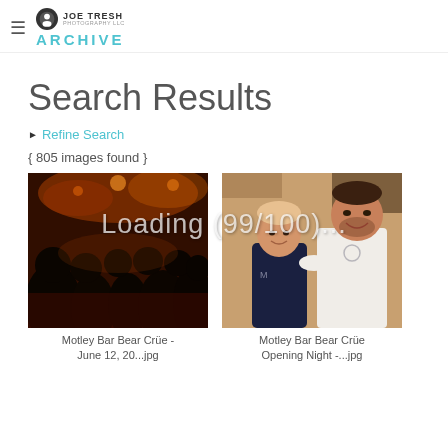JOE TRESH ARCHIVE
Search Results
▶ Refine Search
{ 805 images found }
[Figure (photo): Dark bar scene with crowd of people under red/orange lighting]
Motley Bar Bear Crüe - June 12, 20...jpg
[Figure (photo): Two men smiling, one in dark shirt, one in white sleeveless shirt]
Motley Bar Bear Crüe Opening Night -...jpg
Loading (99/100)...